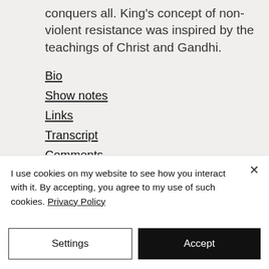conquers all. King's concept of non-violent resistance was inspired by the teachings of Christ and Gandhi.
Bio
Show notes
Links
Transcript
Comments
Bio:
I use cookies on my website to see how you interact with it. By accepting, you agree to my use of such cookies. Privacy Policy